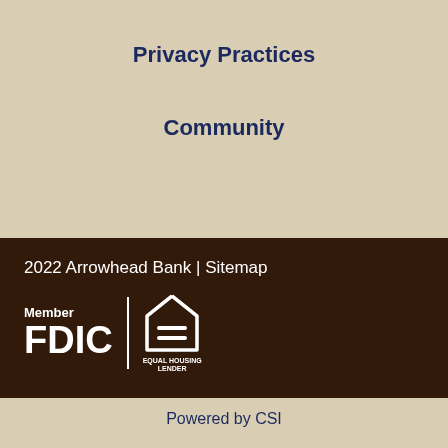Privacy Practices
Community
2022 Arrowhead Bank | Sitemap
[Figure (logo): Member FDIC logo and Equal Housing Lender logo side by side on dark brown background]
Powered by CSI